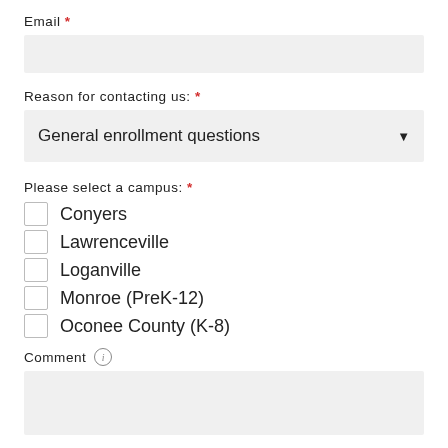Email *
Reason for contacting us: *
General enrollment questions
Please select a campus: *
Conyers
Lawrenceville
Loganville
Monroe (PreK-12)
Oconee County (K-8)
Comment